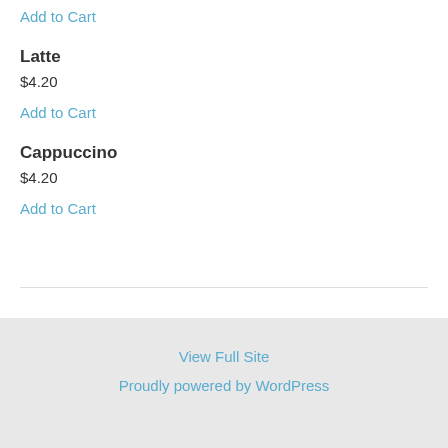Add to Cart
Latte
$4.20
Add to Cart
Cappuccino
$4.20
Add to Cart
View Full Site
Proudly powered by WordPress